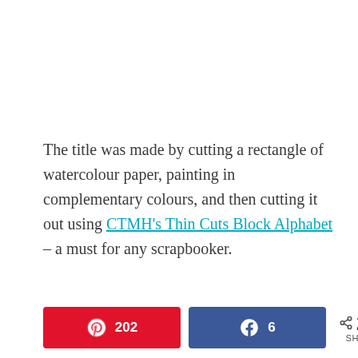The title was made by cutting a rectangle of watercolour paper, painting in complementary colours, and then cutting it out using CTMH's Thin Cuts Block Alphabet – a must for any scrapbooker.
202 Pinterest shares | 6 Facebook shares | 208 SHARES total